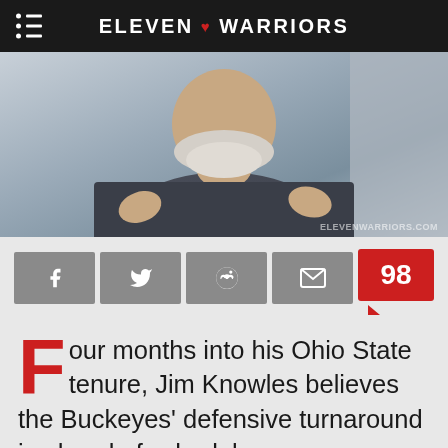ELEVEN ♥ WARRIORS
[Figure (photo): A man with a white beard wearing a dark checkered shirt, gesturing with his hands. Watermark reads ELEVENWARRIORS.COM in bottom right corner.]
[Figure (infographic): Social sharing buttons: Facebook, Twitter, Reddit, Email icons in gray, and a red comment bubble showing count 98]
Four months into his Ohio State tenure, Jim Knowles believes the Buckeyes' defensive turnaround is ahead of schedule.